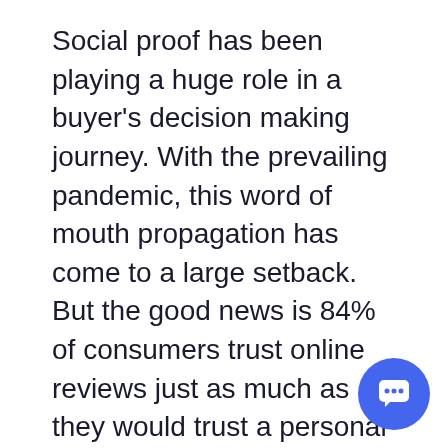Social proof has been playing a huge role in a buyer's decision making journey. With the prevailing pandemic, this word of mouth propagation has come to a large setback. But the good news is 84% of consumers trust online reviews just as much as they would trust a personal recommendation.
Brands from across the world have realised the same. As a result, there are tons of paid reviews for all brands. With an increasing number of such reviews, the faith of the consumers' trust is decreasing. But Video testimonials can be a great way of cutting through the clutter and establishing yourself as a trustworthy brand. However, asking your customers to record their